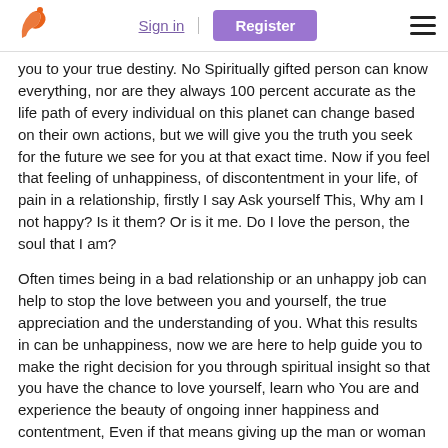Sign in | Register
you to your true destiny. No Spiritually gifted person can know everything, nor are they always 100 percent accurate as the life path of every individual on this planet can change based on their own actions, but we will give you the truth you seek for the future we see for you at that exact time. Now if you feel that feeling of unhappiness, of discontentment in your life, of pain in a relationship, firstly I say Ask yourself This, Why am I not happy? Is it them? Or is it me. Do I love the person, the soul that I am?
Often times being in a bad relationship or an unhappy job can help to stop the love between you and yourself, the true appreciation and the understanding of you. What this results in can be unhappiness, now we are here to help guide you to make the right decision for you through spiritual insight so that you have the chance to love yourself, learn who You are and experience the beauty of ongoing inner happiness and contentment, Even if that means giving up the man or woman who you feel so connected to. No Love is worth your happiness. True Love is natural, True Happiness is easy. Real Happiness is Simplicity, It is Deep within you. Capture and live everyday with